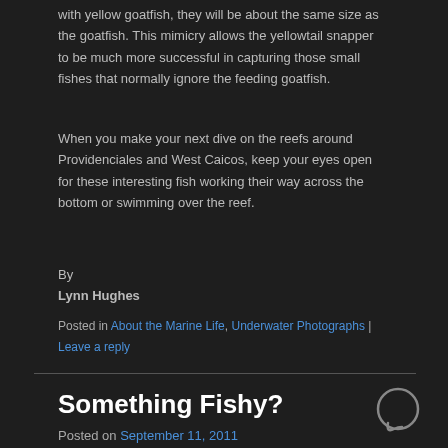with yellow goatfish, they will be about the same size as the goatfish. This mimicry allows the yellowtail snapper to be much more successful in capturing those small fishes that normally ignore the feeding goatfish.
When you make your next dive on the reefs around Providenciales and West Caicos, keep your eyes open for these interesting fish working their way across the bottom or swimming over the reef.
By
Lynn Hughes
Posted in About the Marine Life, Underwater Photographs | Leave a reply
Something Fishy?
Posted on September 11, 2011